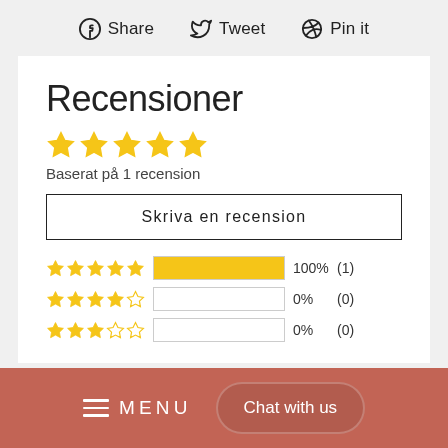Share  Tweet  Pin it
Recensioner
[Figure (other): 5-star rating display (5 filled gold stars)]
Baserat på 1 recension
Skriva en recension
[Figure (bar-chart): Rating breakdown: 5 stars 100% (1), 4 stars 0% (0), 3 stars 0% (0)]
≡  MENU   Chat with us